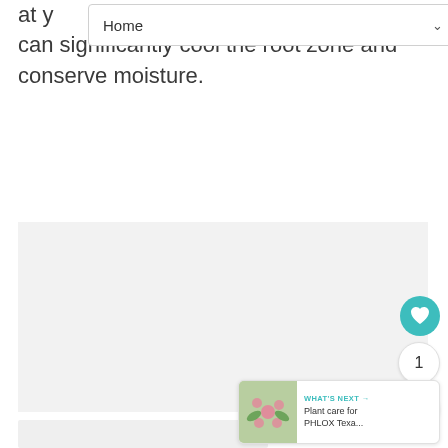Home
at … es can significantly cool the root zone and conserve moisture.
[Figure (photo): Large light gray placeholder image area representing a plant care photo]
[Figure (photo): Thumbnail image of Phlox Texas plant with pink flowers for 'What's Next' card]
WHAT'S NEXT → Plant care for PHLOX Texa...